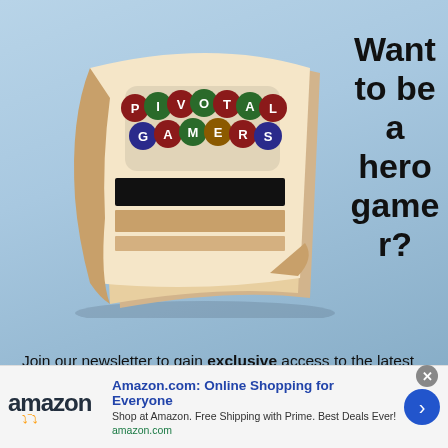[Figure (illustration): Pivotal Gamers newsletter logo — a rolled newspaper with colorful bubble letters spelling 'PIVOTAL GAMERS' on the cover, illustrated in cartoon style]
Want to be a hero gamer?
Join our newsletter to gain exclusive access to the latest news in the MMO gaming world, giveaways, as well as weekly insights about free MMORPG, Browser, MOBA and mobile games.
[Figure (infographic): Amazon advertisement banner: Amazon logo with smile, headline 'Amazon.com: Online Shopping for Everyone', subtext 'Shop at Amazon. Free Shipping with Prime. Best Deals Ever!', domain 'amazon.com', blue circular chevron button, close X button]